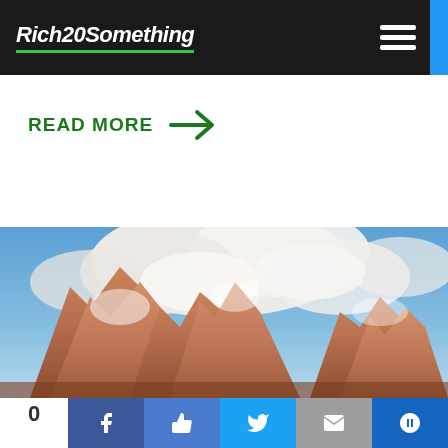Rich20Something
READ MORE →
[Figure (photo): Mountain peaks with dramatic clouds against a blue sky, rocky orange/golden mountain range]
0 [social share buttons: Facebook, Like, Twitter, Email, Bloglovin]